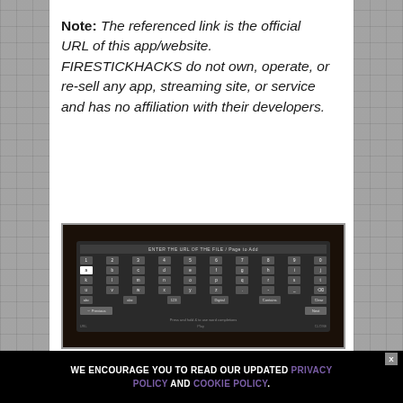Note: The referenced link is the official URL of this app/website. FIRESTICKHACKS do not own, operate, or re-sell any app, streaming site, or service and has no affiliation with their developers.
[Figure (screenshot): Screenshot of a dark-themed on-screen keyboard/URL entry interface on a streaming device, showing rows of letter keys with one key highlighted in white, along with Previous and Next navigation buttons and a hint text at the bottom.]
WE ENCOURAGE YOU TO READ OUR UPDATED PRIVACY POLICY AND COOKIE POLICY.